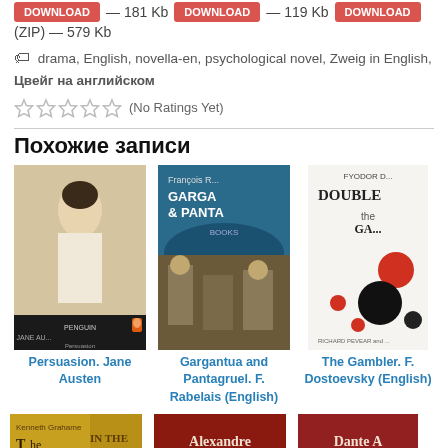— 181 Kb   — 119 Kb   (ZIP) — 579 Kb
drama, English, novella-en, psychological novel, Zweig in English, Цвейг на английском
(No Ratings Yet)
Похожие записи
[Figure (photo): Book cover of Persuasion by Jane Austen (Penguin edition)]
Persuasion. Jane Austen
[Figure (photo): Book cover of Gargantua and Pantagruel by F. Rabelais (English)]
Gargantua and Pantagruel. F. Rabelais (English)
[Figure (photo): Book cover of The Gambler by F. Dostoevsky (English), Fyodor Dostoevsky]
The Gambler. F. Dostoevsky (English)
[Figure (photo): Book cover partial - Kenneth Grahame, In The...]
[Figure (photo): Book cover partial - Alexandre...]
[Figure (photo): Book cover partial - Dante A...]